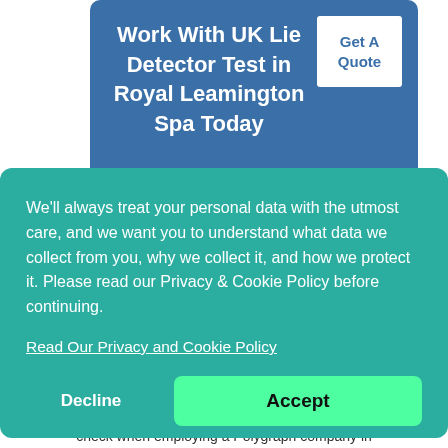Work With UK Lie Detector Test in Royal Leamington Spa Today
Get A Quote
We'll always treat your personal data with the utmost care, and we want you to understand what data we collect from you, why we collect it, and how we protect it. Please read our Privacy & Cookie Policy before continuing.
Read Our Privacy and Cookie Policy
Decline
Accept
check when employing a Polygraph company in